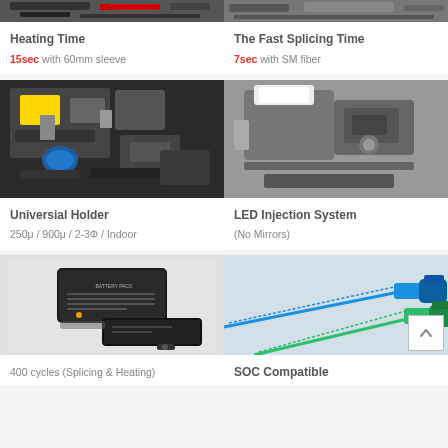[Figure (photo): Partial view of fiber splicing machine/heater equipment (top cropped)]
[Figure (photo): Partial view of fiber splicing machine (top cropped, right column)]
Heating Time
15sec with 60mm sleeve
The Fast Splicing Time
7sec with SM fiber
[Figure (photo): Universal holder close-up showing fiber splicing machine internals with blue fiber]
[Figure (photo): LED Injection System close-up showing splicer with LED light and no mirrors]
Universial Holder
250μ / 900μ / 2-3Φ / Indoor
LED Injection System
(No Mirrors)
[Figure (photo): Battery pack units for fiber splicer — two black battery packs]
[Figure (photo): SOC Compatible fiber connectors — blue and green SC/APC connectors with insertion tools]
400 cycles (Splicing & Heating)
SOC Compatible